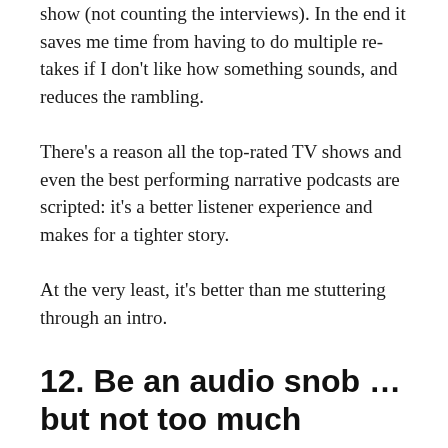show (not counting the interviews). In the end it saves me time from having to do multiple re-takes if I don't like how something sounds, and reduces the rambling.
There's a reason all the top-rated TV shows and even the best performing narrative podcasts are scripted: it's a better listener experience and makes for a tighter story.
At the very least, it's better than me stuttering through an intro.
12. Be an audio snob … but not too much
Insist on quality audio from your guests. Even my